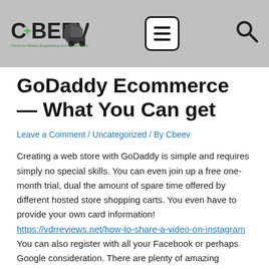CBEEV [logo with menu and search icons]
GoDaddy Ecommerce — What You Can get
Leave a Comment / Uncategorized / By Cbeev
Creating a web store with GoDaddy is simple and requires simply no special skills. You can even join up a free one-month trial, dual the amount of spare time offered by different hosted store shopping carts. You even have to provide your own card information! https://vdrreviews.net/how-to-share-a-video-on-instagram You can also register with all your Facebook or perhaps Google consideration. There are plenty of amazing features available on the Ecommerce package, including a tailor